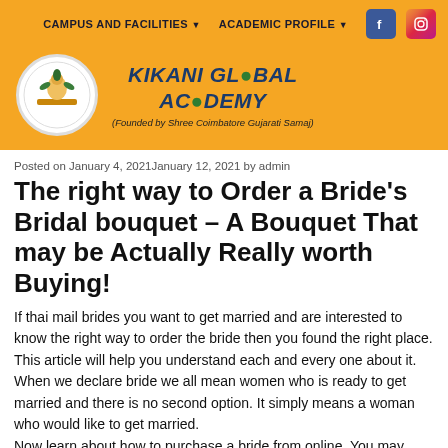CAMPUS AND FACILITIES ▼   ACADEMIC PROFILE ▼
[Figure (logo): Kikani Global Academy logo with school crest in circular white frame, school name in bold italic blue text, founded by Shree Coimbatore Gujarati Samaj]
Posted on January 4, 2021January 12, 2021 by admin
The right way to Order a Bride's Bridal bouquet – A Bouquet That may be Actually Really worth Buying!
If thai mail brides you want to get married and are interested to know the right way to order the bride then you found the right place. This article will help you understand each and every one about it. When we declare bride we all mean women who is ready to get married and there is no second option. It simply means a woman who would like to get married.
Now learn about how to purchase a bride from online. You may have to join up yourself upon any of the numerous sites that